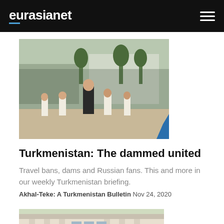eurasianet
[Figure (photo): A man in a dark suit walking with children dressed in traditional white Turkmen clothing on a paved outdoor area, with people and trees in the background.]
Turkmenistan: The dammed united
Travel bans, dams and Russian fans. This and more in our weekly Turkmenistan briefing.
Akhal-Teke: A Turkmenistan Bulletin Nov 24, 2020
[Figure (photo): A man in a suit standing in front of a white government building with ornate facade and manicured gardens.]